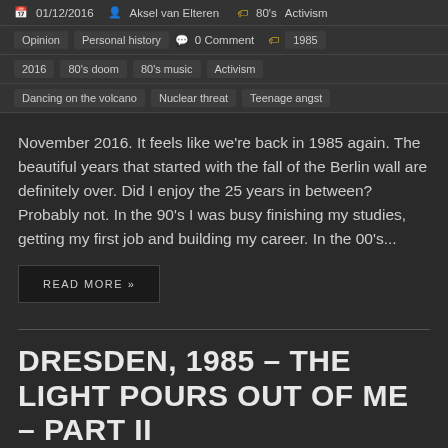01/12/2016  Aksel van Elteren  80's  Activism
Opinion  Personal history  0 Comment  1985
2016  80's doom  80's music  Activism
Dancing on the volcano  Nuclear threat  Teenage angst
November 2016. It feels like we’re back in 1985 again. The beautiful years that started with the fall of the Berlin wall are definitely over. Did I enjoy the 25 years in between? Probably not. In the 90’s I was busy finishing my studies, getting my first job and building my career. In the 00’s...
READ MORE »
DRESDEN, 1985 – THE LIGHT POURS OUT OF ME – PART II